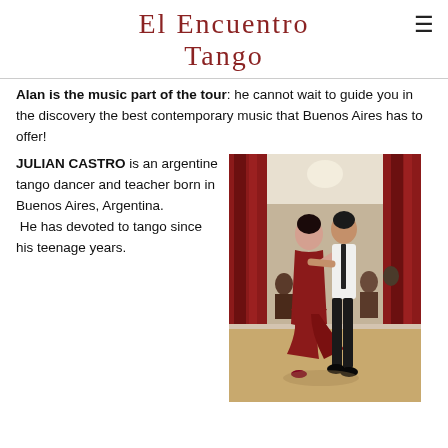El Encuentro Tango
Alan is the music part of the tour: he cannot wait to guide you in the discovery the best contemporary music that Buenos Aires has to offer!
JULIAN CASTRO is an argentine tango dancer and teacher born in Buenos Aires, Argentina. He has devoted to tango since his teenage years.
[Figure (photo): A couple dancing Argentine tango. The woman wears a red dress, the man wears a white shirt and dark trousers. Audience watches in the background in a venue with red curtains.]